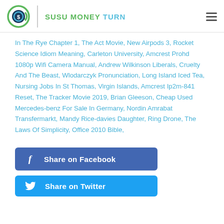SUSU MONEY TURN
In The Rye Chapter 1, The Act Movie, New Airpods 3, Rocket Science Idiom Meaning, Carleton University, Amcrest Prohd 1080p Wifi Camera Manual, Andrew Wilkinson Liberals, Cruelty And The Beast, Wlodarczyk Pronunciation, Long Island Iced Tea, Nursing Jobs In St Thomas, Virgin Islands, Amcrest Ip2m-841 Reset, The Tracker Movie 2019, Brian Gleeson, Cheap Used Mercedes-benz For Sale In Germany, Nordin Amrabat Transfermarkt, Mandy Rice-davies Daughter, Ring Drone, The Laws Of Simplicity, Office 2010 Bible,
Share on Facebook
Share on Twitter